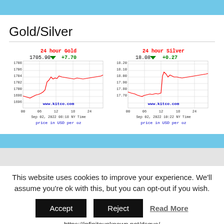Gold/Silver
[Figure (continuous-plot): 24 hour Gold price chart showing price movement from 00 to 24 hours on Sep 02, 2022 08:18 NY Time. Current price 1705.90, change +7.70. Y-axis range 1696-1708. Red line chart with grid. www.kitco.com. price in USD per oz.]
[Figure (continuous-plot): 24 hour Silver price chart showing price movement from 00 to 24 hours on Sep 02, 2022 10:22 NY Time. Current price 18.08, change +0.27. Y-axis range 17.70-18.20. Red line chart with grid. www.kitco.com. price in USD per oz.]
This website uses cookies to improve your experience. We'll assume you're ok with this, but you can opt-out if you wish.
Accept  Reject  Read More
https://infiniteunknown.net/dsgvo/